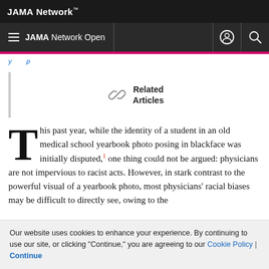JAMA Network
JAMA Network Open
Related Articles
This past year, while the identity of a student in an old medical school yearbook photo posing in blackface was initially disputed,1 one thing could not be argued: physicians are not impervious to racist acts. However, in stark contrast to the powerful visual of a yearbook photo, most physicians' racial biases may be difficult to directly see, owing to the
Our website uses cookies to enhance your experience. By continuing to use our site, or clicking "Continue," you are agreeing to our Cookie Policy | Continue